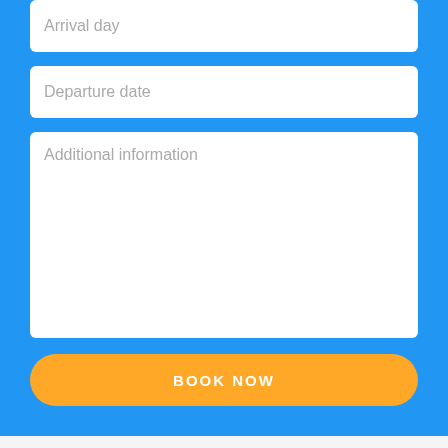Arrival day
Departure date
Additional information
BOOK NOW
| Location | Downtown |
| --- | --- |
| Type | Standard |